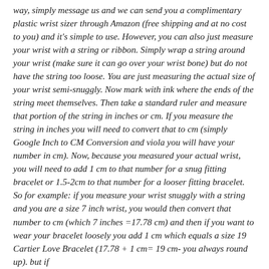way, simply message us and we can send you a complimentary plastic wrist sizer through Amazon (free shipping and at no cost to you) and it's simple to use. However, you can also just measure your wrist with a string or ribbon. Simply wrap a string around your wrist (make sure it can go over your wrist bone) but do not have the string too loose. You are just measuring the actual size of your wrist semi-snuggly. Now mark with ink where the ends of the string meet themselves. Then take a standard ruler and measure that portion of the string in inches or cm. If you measure the string in inches you will need to convert that to cm (simply Google Inch to CM Conversion and viola you will have your number in cm). Now, because you measured your actual wrist, you will need to add 1 cm to that number for a snug fitting bracelet or 1.5-2cm to that number for a looser fitting bracelet. So for example: if you measure your wrist snuggly with a string and you are a size 7 inch wrist, you would then convert that number to cm (which 7 inches =17.78 cm) and then if you want to wear your bracelet loosely you add 1 cm which equals a size 19 Cartier Love Bracelet (17.78 + 1 cm= 19 cm- you always round up). but if